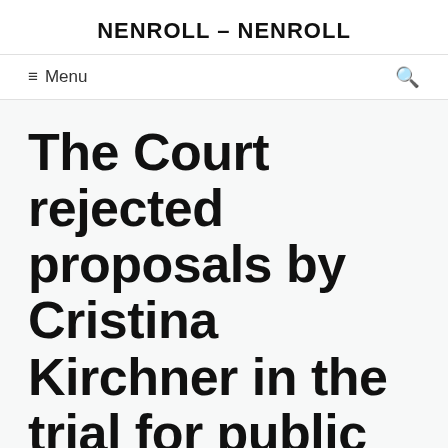NENROLL - NENROLL
≡ Menu
The Court rejected proposals by Cristina Kirchner in the trial for public works